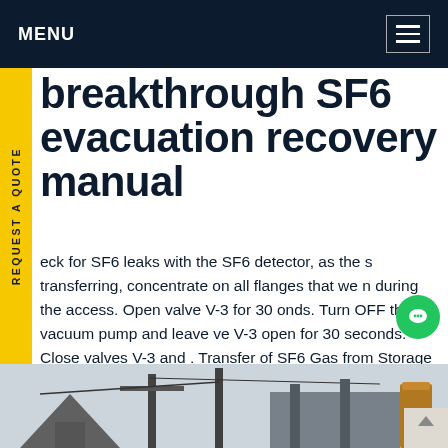MENU
breakthrough SF6 evacuation recovery manual
eck for SF6 leaks with the SF6 detector, as the s transferring, concentrate on all flanges that we n during the access. Open valve V-3 for 30 onds. Turn OFF the vacuum pump and leave ve V-3 open for 30 seconds. Close valves V-3 and . Transfer of SF6 Gas from Storage Tank to etron Tank (cont.)Get price
[Figure (photo): Industrial substation or electrical equipment outdoor installation with metal structures, towers, and equipment visible against a light sky.]